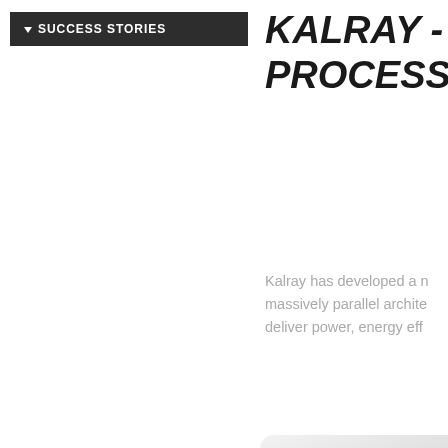▼ SUCCESS STORIES
KALRAY - PRO… PROCESSORS …
Kalray has developed a m… massively parallel archite… deliver power, energy eff…
[Figure (other): Rounded rectangular box with grey gradient background, partially visible at bottom right of page]